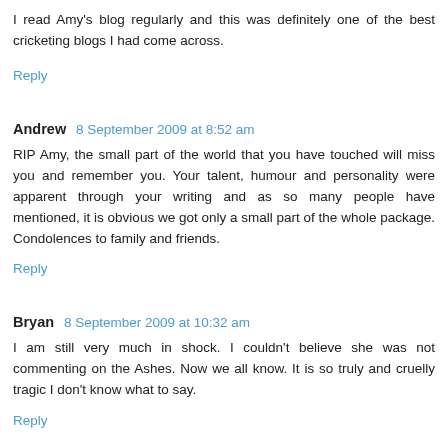I read Amy's blog regularly and this was definitely one of the best cricketing blogs I had come across.
Reply
Andrew  8 September 2009 at 8:52 am
RIP Amy, the small part of the world that you have touched will miss you and remember you. Your talent, humour and personality were apparent through your writing and as so many people have mentioned, it is obvious we got only a small part of the whole package. Condolences to family and friends.
Reply
Bryan  8 September 2009 at 10:32 am
I am still very much in shock. I couldn't believe she was not commenting on the Ashes. Now we all know. It is so truly and cruelly tragic I don't know what to say.
Reply